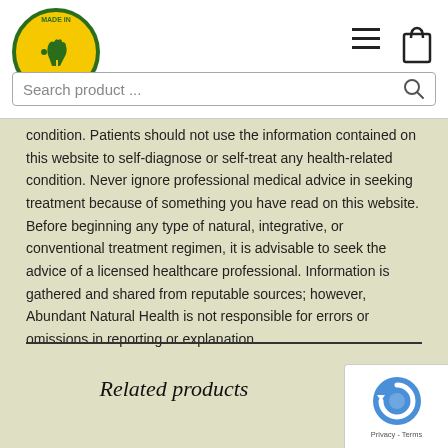Made in Australia logo, hamburger menu, bag icon, search bar
condition. Patients should not use the information contained on this website to self-diagnose or self-treat any health-related condition. Never ignore professional medical advice in seeking treatment because of something you have read on this website. Before beginning any type of natural, integrative, or conventional treatment regimen, it is advisable to seek the advice of a licensed healthcare professional. Information is gathered and shared from reputable sources; however, Abundant Natural Health is not responsible for errors or omissions in reporting or explanation.
Related products